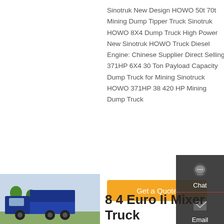Sinotruk New Design HOWO 50t 70t Mining Dump Tipper Truck Sinotruk HOWO 8X4 Dump Truck High Power New Sinotruk HOWO Truck Diesel Engine: Chinese Supplier Direct Selling 371HP 6X4 30 Ton Payload Capacity Dump Truck for Mining Sinotruck HOWO 371HP 38 420 HP Mining Dump Truck
Get a Quote
[Figure (other): Sidebar panel with chat, email, contact, and top navigation icons on dark background]
[Figure (photo): Blue dump truck photo in outdoor setting]
8 4 Euro Ii Mixer Truck